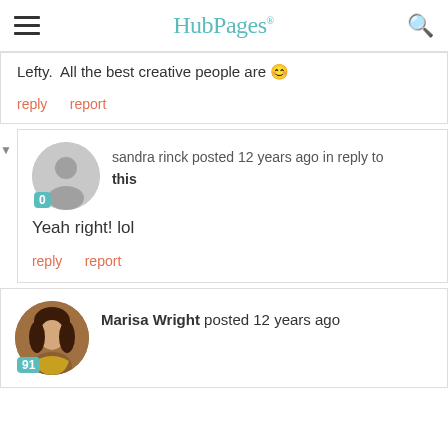HubPages
Lefty. All the best creative people are 😊
reply   report
sandra rinck posted 12 years ago in reply to this
Yeah right! lol
reply   report
Marisa Wright posted 12 years ago